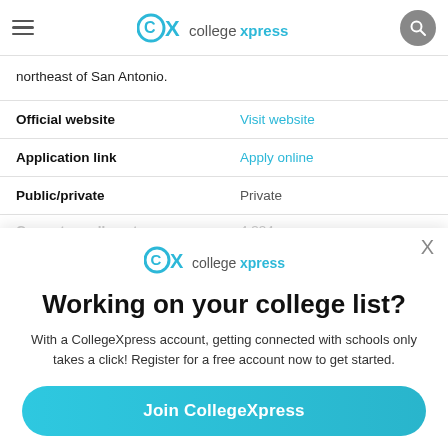CollegeXpress navigation bar
northeast of San Antonio.
|  |  |
| --- | --- |
| Official website | Visit website |
| Application link | Apply online |
| Public/private | Private |
| Current enrollment | 4,334 |
[Figure (logo): CollegeXpress logo in overlay modal]
Working on your college list?
With a CollegeXpress account, getting connected with schools only takes a click! Register for a free account now to get started.
Join CollegeXpress